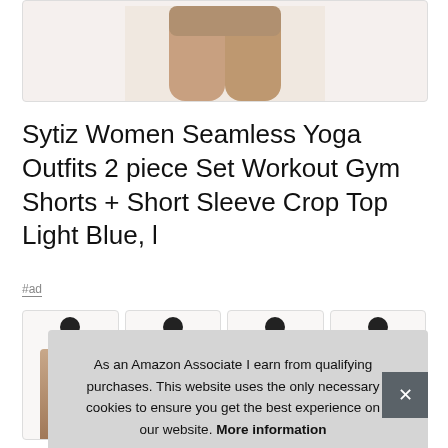[Figure (photo): Partial view of woman's legs wearing workout shorts, cropped at upper thigh level, tan/neutral toned background]
Sytiz Women Seamless Yoga Outfits 2 piece Set Workout Gym Shorts + Short Sleeve Crop Top Light Blue, l
#ad
[Figure (photo): Row of four product thumbnail images showing women's workout sets]
As an Amazon Associate I earn from qualifying purchases. This website uses the only necessary cookies to ensure you get the best experience on our website. More information